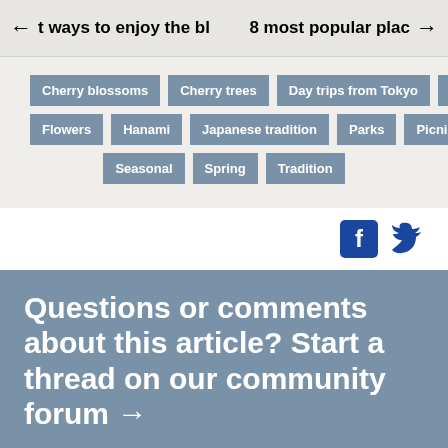← t ways to enjoy the blossoms   8 most popular place →
Cherry blossoms
Cherry trees
Day trips from Tokyo
Featured
Flowers
Hanami
Japanese tradition
Parks
Picnics
Sakura
Seasonal
Spring
Tradition
[Figure (infographic): Facebook and Twitter social share icons]
Questions or comments about this article? Start a thread on our community forum →